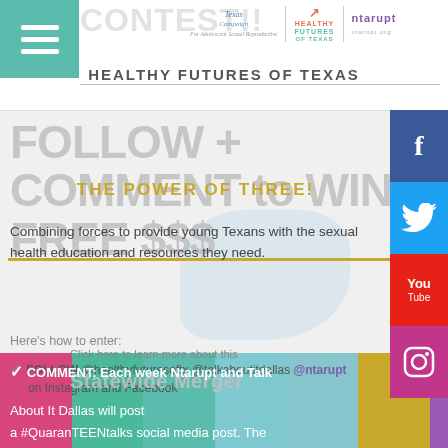CONTEST!! | Texas Campaign | HEALTHY FUTURES OF TEXAS | ntarupt
HEALTHY FUTURES OF TEXAS
FOLLOW + COMMENT to WIN FREE $$$
THE POWER OF THREE!
Combining forces to provide young Texans with the sexual health education and resources they need.
Here's how to enter:
Click here to learn more about this Statewide Merger
✓ FOLLOW @healthyfuturesoftx @talkabouitdallas @ntarupt on Instagram and Facebook
✓ COMMENT: Each week Ntarupt and Talk About It Dallas will post a #QuaranTEENtalks social media post. The